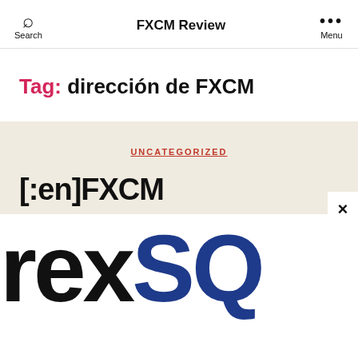FXCM Review
Tag: dirección de FXCM
UNCATEGORIZED
[:en]FXCM
[Figure (logo): ForexSQ logo — 'rex' in black bold and 'SQ' in dark blue bold, partially cropped]